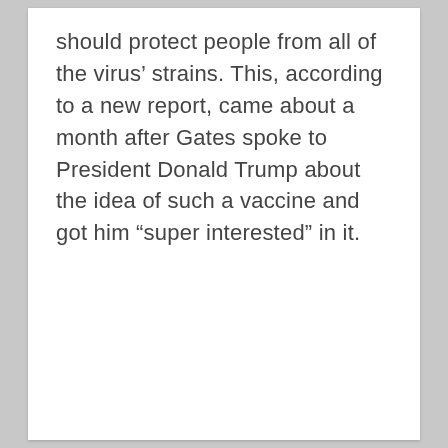should protect people from all of the virus’ strains. This, according to a new report, came about a month after Gates spoke to President Donald Trump about the idea of such a vaccine and got him “super interested” in it.